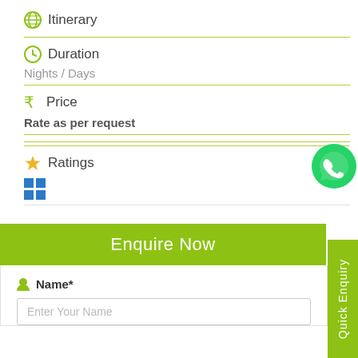Itinerary
Duration
Nights / Days
Price
Rate as per request
Ratings
[Figure (other): 2x2 blue squares icon]
Enquire Now
Name*
Enter Your Name
Quick Enquiry